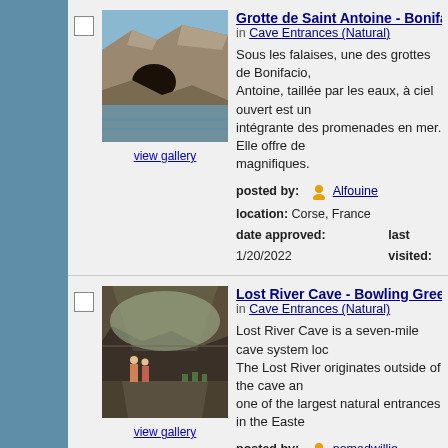[Figure (photo): Coastal cave entrance at Bonifacio, rock arch over the sea]
view gallery
Grotte de Saint Antoine - Bonifacio
in Cave Entrances (Natural)
Sous les falaises, une des grottes de Bonifacio, Antoine, taillée par les eaux, à ciel ouvert est un intégrante des promenades en mer. Elle offre de magnifiques.
posted by: Alfouine
location: Corse, France
date approved: 1/20/2022   last visited:
[Figure (photo): Interior of Lost River Cave with large natural entrance, visitors visible]
view gallery
Lost River Cave - Bowling Green, K
in Cave Entrances (Natural)
Lost River Cave is a seven-mile cave system loc The Lost River originates outside of the cave an one of the largest natural entrances in the Easte
posted by: nomadwillie
location: Kentucky
date approved: 1/14/2022   last visited: